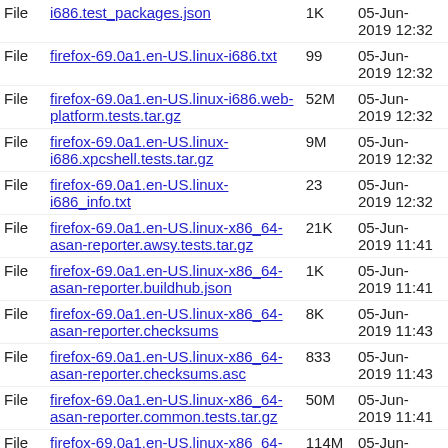| Type | Name | Size | Date |
| --- | --- | --- | --- |
| File | i686.test_packages.json | 1K | 05-Jun-2019 12:32 |
| File | firefox-69.0a1.en-US.linux-i686.txt | 99 | 05-Jun-2019 12:32 |
| File | firefox-69.0a1.en-US.linux-i686.web-platform.tests.tar.gz | 52M | 05-Jun-2019 12:32 |
| File | firefox-69.0a1.en-US.linux-i686.xpcshell.tests.tar.gz | 9M | 05-Jun-2019 12:32 |
| File | firefox-69.0a1.en-US.linux-i686_info.txt | 23 | 05-Jun-2019 12:32 |
| File | firefox-69.0a1.en-US.linux-x86_64-asan-reporter.awsy.tests.tar.gz | 21K | 05-Jun-2019 11:41 |
| File | firefox-69.0a1.en-US.linux-x86_64-asan-reporter.buildhub.json | 1K | 05-Jun-2019 11:41 |
| File | firefox-69.0a1.en-US.linux-x86_64-asan-reporter.checksums | 8K | 05-Jun-2019 11:43 |
| File | firefox-69.0a1.en-US.linux-x86_64-asan-reporter.checksums.asc | 833 | 05-Jun-2019 11:43 |
| File | firefox-69.0a1.en-US.linux-x86_64-asan-reporter.common.tests.tar.gz | 50M | 05-Jun-2019 11:41 |
| File | firefox-69.0a1.en-US.linux-x86_64-asan-reporter.cppunittest.tests.tar.gz | 114M | 05-Jun-2019 11:41 |
| File | firefox-69.0a1.en-US.linux-x86_64-asan- | 896 | 05-Jun-2019 11:41 |